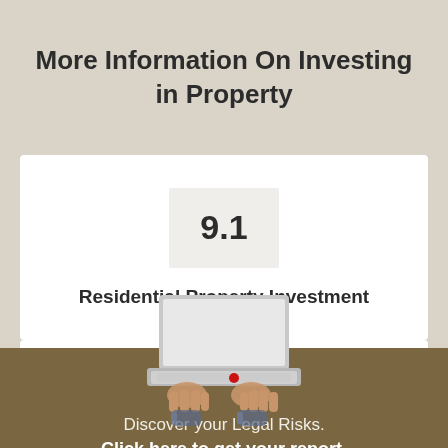More Information On Investing in Property
9.1
Residential Property Investment
[Figure (illustration): Top-down view of a person typing on a laptop with hands visible, a red dot visible on the keyboard area]
Discover your Legal Risks.
Click here to get your report.